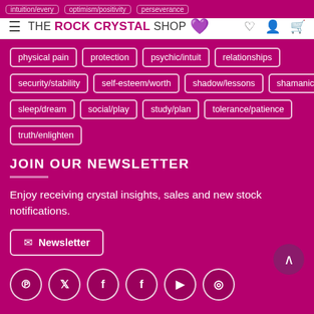THE ROCK CRYSTAL SHOP
intuition/every | optimism/positivity | perseverance
physical pain | protection | psychic/intuit | relationships
security/stability | self-esteem/worth | shadow/lessons | shamanic
sleep/dream | social/play | study/plan | tolerance/patience
truth/enlighten
JOIN OUR NEWSLETTER
Enjoy receiving crystal insights, sales and new stock notifications.
✉ Newsletter